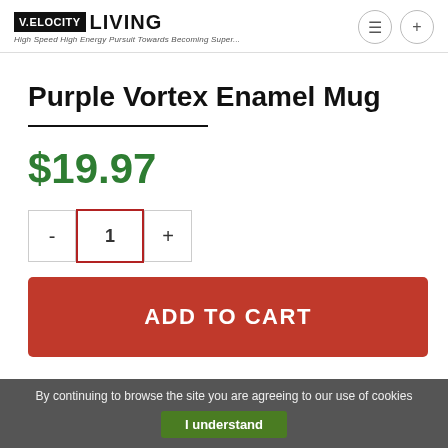V.ELOCITY LIVING — High Speed High Energy Pursuit Towards Becoming Super...
Purple Vortex Enamel Mug
$19.97
- 1 +
ADD TO CART
By continuing to browse the site you are agreeing to our use of cookies
I understand